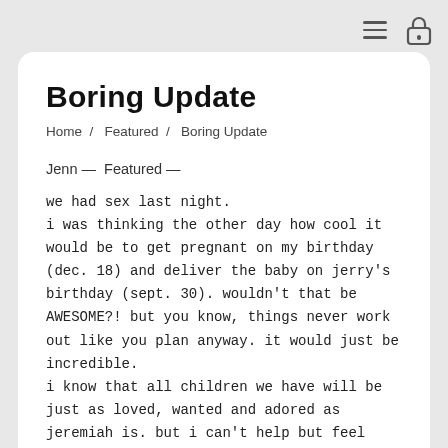≡  🔒
Boring Update
Home / Featured / Boring Update
Jenn — Featured —
we had sex last night.
i was thinking the other day how cool it would be to get pregnant on my birthday (dec. 18) and deliver the baby on jerry's birthday (sept. 30). wouldn't that be AWESOME?! but you know, things never work out like you plan anyway. it would just be incredible.
i know that all children we have will be just as loved, wanted and adored as jeremiah is. but i can't help but feel they might feel less-special than him, just because we prayed and waited for him so long. i know personally i will love our other children just as much (tho i know every love is different, the amount of love will be the same) even if we conceive immediately. but i